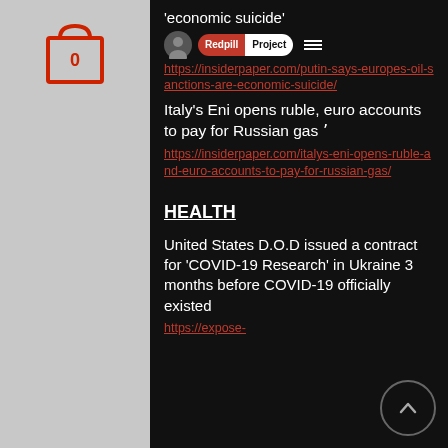'economic suicide'
https://insiderpaper.com/putin-says-europes-oil-sanctions-are-economic-suicide/
Italy's Eni opens ruble, euro accounts to pay for Russian gas
https://insiderpaper.com/italys-eni-opens-ruble-and-euro-accounts-to-pay-for-russian-gas/
HEALTH
United States D.O.D issued a contract for 'COVID-19 Research' in Ukraine 3 months before COVID-19 officially existed
https://expose-